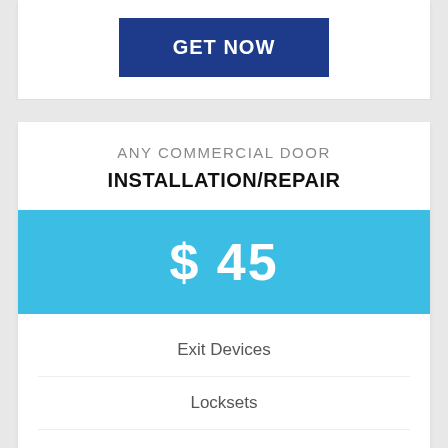GET NOW
ANY COMMERCIAL DOOR
INSTALLATION/REPAIR
$ 45
Exit Devices
Locksets
Door Closers